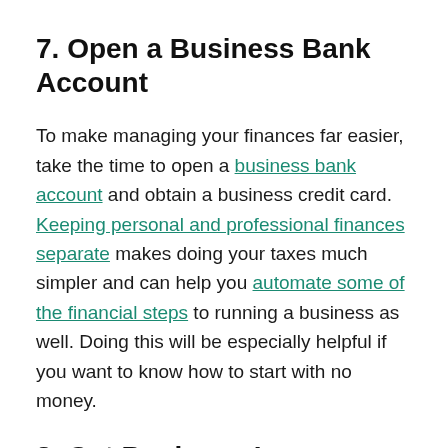7. Open a Business Bank Account
To make managing your finances far easier, take the time to open a business bank account and obtain a business credit card. Keeping personal and professional finances separate makes doing your taxes much simpler and can help you automate some of the financial steps to running a business as well. Doing this will be especially helpful if you want to know how to start with no money.
8. Get Business Insurance